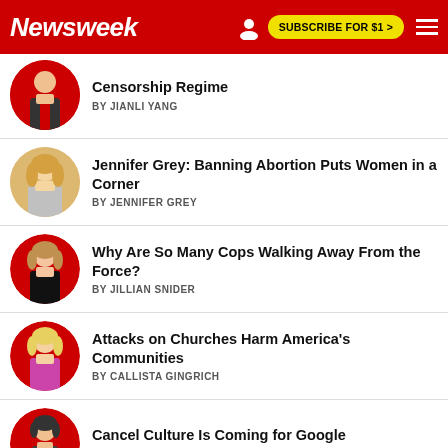Newsweek
Censorship Regime | BY JIANLI YANG
Jennifer Grey: Banning Abortion Puts Women in a Corner | BY JENNIFER GREY
Why Are So Many Cops Walking Away From the Force? | BY JILLIAN SNIDER
Attacks on Churches Harm America's Communities | BY CALLISTA GINGRICH
Cancel Culture Is Coming for Google | BY AYDEN FÉRDELINE